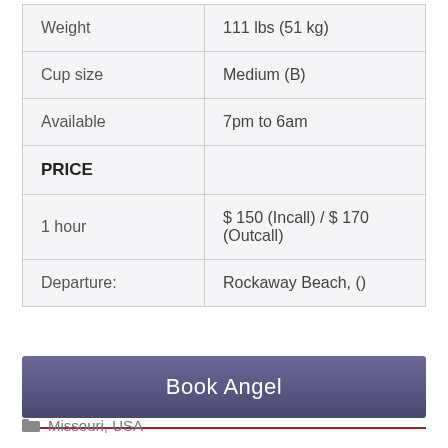| Weight | 111 lbs (51 kg) |
| Cup size | Medium (B) |
| Available | 7pm to 6am |
| PRICE |  |
| 1 hour | $ 150 (Incall) / $ 170 (Outcall) |
| Departure: | Rockaway Beach, () |
Book Angel
Missouri, USA